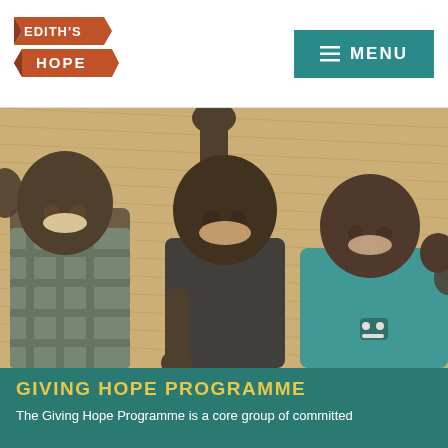Edith's Hope — MENU
[Figure (photo): Three smiling African children waving at the camera, standing in front of a woven straw/bamboo wall background. The middle child raises one hand high. The right child wears a teal t-shirt.]
GIVING HOPE PROGRAMME
The Giving Hope Programme is a core group of committed